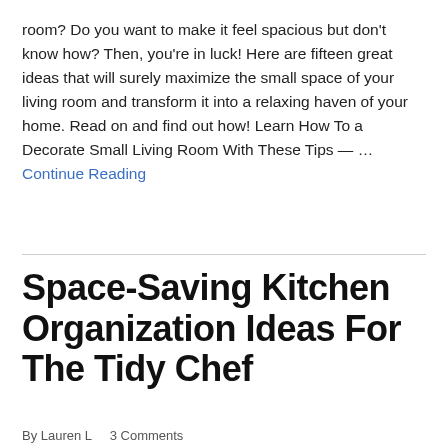room? Do you want to make it feel spacious but don't know how? Then, you're in luck! Here are fifteen great ideas that will surely maximize the small space of your living room and transform it into a relaxing haven of your home. Read on and find out how! Learn How To a Decorate Small Living Room With These Tips — …Continue Reading
Space-Saving Kitchen Organization Ideas For The Tidy Chef
By Lauren L    3 Comments